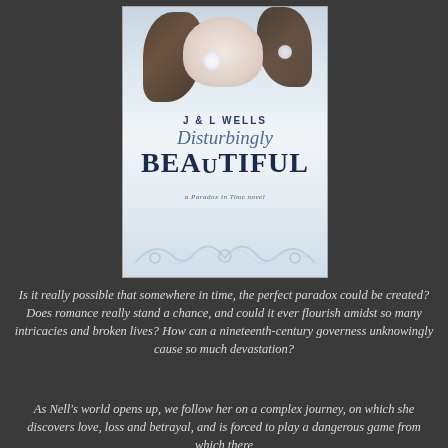[Figure (illustration): Book cover for 'Disturbingly Beautiful' by J & L Wells, a Paradox in Time novel. Features a woman with dark hair and flowers, misty blue-white color scheme, with ornate scroll decoration at the bottom.]
Is it really possible that somewhere in time, the perfect paradox could be created? Does romance really stand a chance, and could it ever flourish amidst so many intricacies and broken lives? How can a nineteenth-century governess unknowingly cause so much devastation?
As Nell's world opens up, we follow her on a complex journey, on which she discovers love, loss and betrayal, and is forced to play a dangerous game from which there